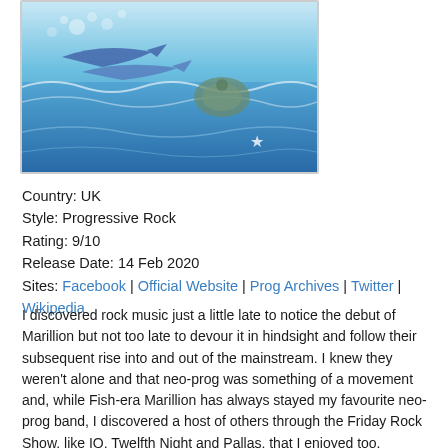[Figure (illustration): Album artwork showing an underwater/ocean scene with fish, dolphins or marlins, turtles, and sea creatures in blues and whites with decorative mosaic-like style]
Country: UK
Style: Progressive Rock
Rating: 9/10
Release Date: 14 Feb 2020
Sites: Facebook | Official Website | Prog Archives | Twitter | Wikipedia
I discovered rock music just a little late to notice the debut of Marillion but not too late to devour it in hindsight and follow their subsequent rise into and out of the mainstream. I knew they weren't alone and that neo-prog was something of a movement and, while Fish-era Marillion has always stayed my favourite neo-prog band, I discovered a host of others through the Friday Rock Show, like IQ, Twelfth Night and Pallas, that I enjoyed too.